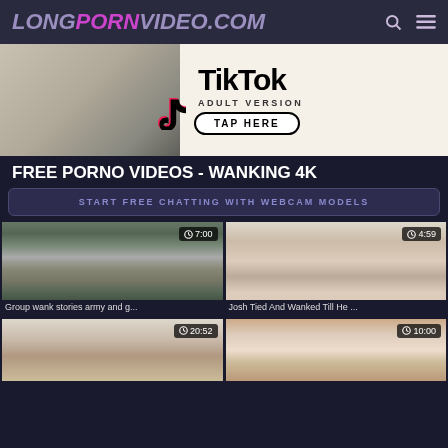LONGPORNVIDEO.COM
[Figure (photo): TikTok Adult Version advertisement banner with TikTok logo and TAP HERE button]
FREE PORNO VIDEOS - WANKING 4K
START FREE CHATTING WITH WEBCAM MODELS
[Figure (photo): Video thumbnail - Group wank stories army and g... duration 7:00]
[Figure (photo): Video thumbnail - Josh Tied And Wanked Till He ... duration 4:59]
[Figure (photo): Video thumbnail - duration 20:52]
[Figure (photo): Video thumbnail - duration 10:00]